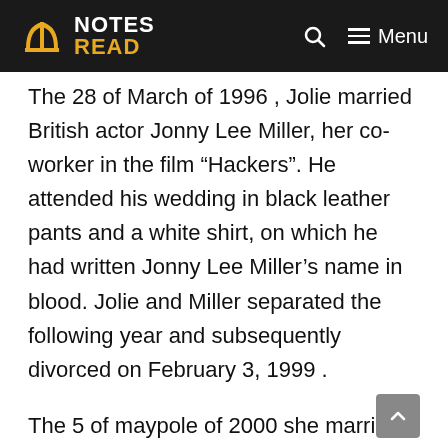NOTES READ
The 28 of March of 1996 , Jolie married British actor Jonny Lee Miller, her co-worker in the film “Hackers”. He attended his wedding in black leather pants and a white shirt, on which he had written Jonny Lee Miller’s name in blood. Jolie and Miller separated the following year and subsequently divorced on February 3, 1999 .
The 5 of maypole of 2000 she married American actor Billy Bob Thornton and March 10 of the 2002 , Jolie adopted her first child , seven – month-old named Maddox born